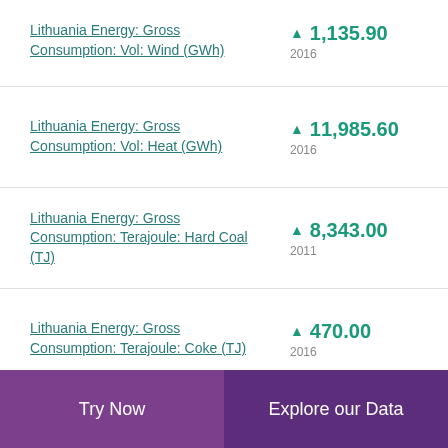Lithuania Energy: Gross Consumption: Vol: Wind (GWh)
Lithuania Energy: Gross Consumption: Vol: Heat (GWh)
Lithuania Energy: Gross Consumption: Terajoule: Hard Coal (TJ)
Lithuania Energy: Gross Consumption: Terajoule: Coke (TJ)
Try Now   Explore our Data